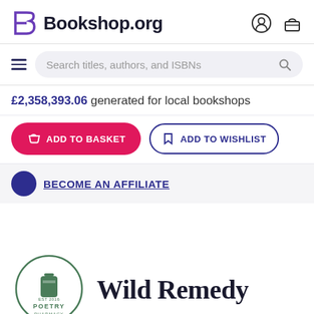[Figure (logo): Bookshop.org logo with stylized B icon and wordmark, plus account and basket icons]
[Figure (screenshot): Search bar with hamburger menu, search input placeholder 'Search titles, authors, and ISBNs', and magnifying glass icon]
£2,358,393.06 generated for local bookshops
ADD TO BASKET
ADD TO WISHLIST
[Figure (screenshot): Partially visible blue circle icon with truncated blue link text]
[Figure (logo): Poetry Pharmacy circular logo with green bottle icon, EST 2016, POETRY PHARMACY text]
Wild Remedy